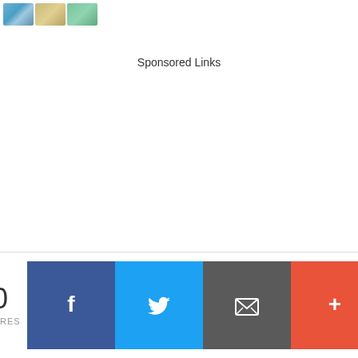[Figure (photo): Thumbnail strip of three small images showing currency/money related content]
Sponsored Links
11 Common Reasons Why Most Beginners Lose Money Trading Forex
0 SHARES
[Figure (other): Social share bar with Facebook, Twitter, Email, and More buttons]